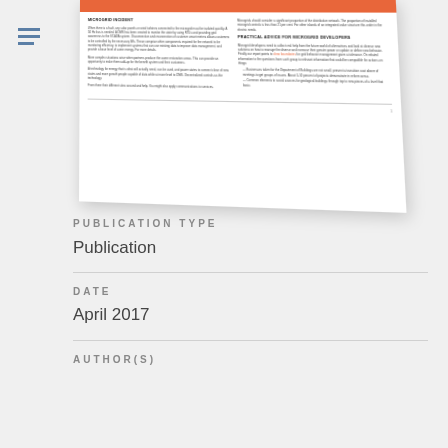[Figure (illustration): Thumbnail preview of a document page with an orange header bar, two-column body text with section headers including 'MICROGRID INCIDENT' and 'PRACTICAL ADVICE FOR MICROGRID DEVELOPERS', and a page number at the bottom.]
PUBLICATION TYPE
Publication
DATE
April 2017
AUTHOR(S)